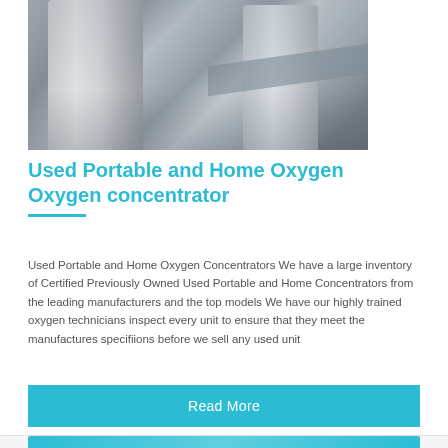[Figure (photo): Industrial oxygen concentrator equipment — large cylindrical tanks/pipes photographed from below against a metal roof structure, grey and white tones]
Used Portable and Home Oxygen Oxygen concentrator
Used Portable and Home Oxygen Concentrators We have a large inventory of Certified Previously Owned Used Portable and Home Concentrators from the leading manufacturers and the top models We have our highly trained oxygen technicians inspect every unit to ensure that they meet the manufactures specifiions before we sell any used unit
Read More